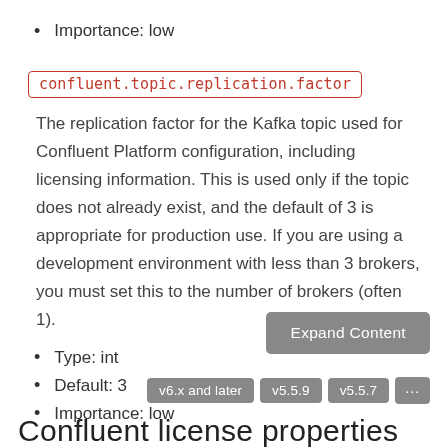Importance: low
confluent.topic.replication.factor
The replication factor for the Kafka topic used for Confluent Platform configuration, including licensing information. This is used only if the topic does not already exist, and the default of 3 is appropriate for production use. If you are using a development environment with less than 3 brokers, you must set this to the number of brokers (often 1).
Type: int
Default: 3
Importance: low
Expand Content
v6.x and later   v5.5.9   v5.5.7   ...
Confluent license properties